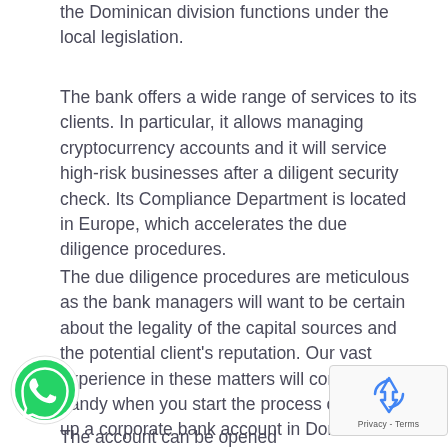the Dominican division functions under the local legislation.
The bank offers a wide range of services to its clients. In particular, it allows managing cryptocurrency accounts and it will service high-risk businesses after a diligent security check. Its Compliance Department is located in Europe, which accelerates the due diligence procedures.
The due diligence procedures are meticulous as the bank managers will want to be certain about the legality of the capital sources and the potential client's reputation. Our vast experience in these matters will come in handy when you start the process of setting up a corporate bank account in Dominica remotely.
The account can be opened
[Figure (logo): WhatsApp green phone icon]
[Figure (other): Google reCAPTCHA privacy badge with recycling arrow icon and Privacy - Terms text]